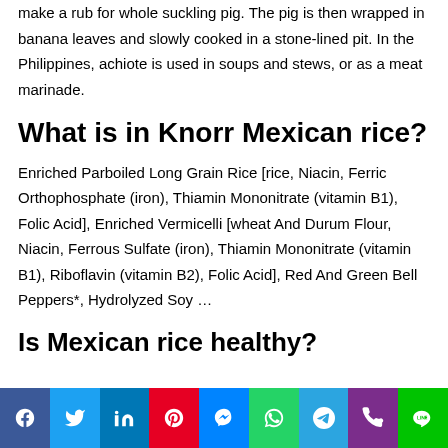make a rub for whole suckling pig. The pig is then wrapped in banana leaves and slowly cooked in a stone-lined pit. In the Philippines, achiote is used in soups and stews, or as a meat marinade.
What is in Knorr Mexican rice?
Enriched Parboiled Long Grain Rice [rice, Niacin, Ferric Orthophosphate (iron), Thiamin Mononitrate (vitamin B1), Folic Acid], Enriched Vermicelli [wheat And Durum Flour, Niacin, Ferrous Sulfate (iron), Thiamin Mononitrate (vitamin B1), Riboflavin (vitamin B2), Folic Acid], Red And Green Bell Peppers*, Hydrolyzed Soy …
Is Mexican rice healthy?